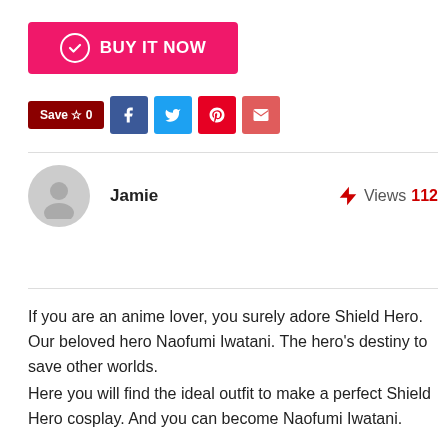[Figure (other): Pink 'BUY IT NOW' button with checkmark icon]
[Figure (other): Save button and social share icons: Facebook, Twitter, Pinterest, Email]
Jamie
Views 112
If you are an anime lover, you surely adore Shield Hero. Our beloved hero Naofumi Iwatani. The hero's destiny to save other worlds.
Here you will find the ideal outfit to make a perfect Shield Hero cosplay. And you can become Naofumi Iwatani.